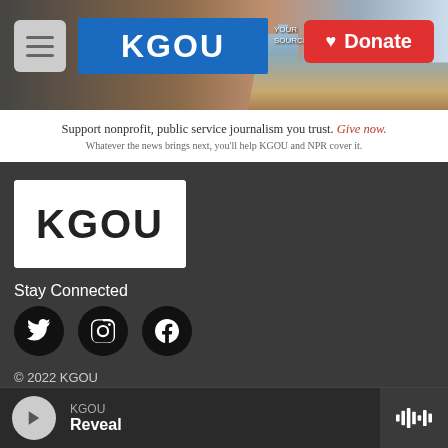[Figure (screenshot): KGOU radio website header with navigation menu button, KGOU logo in blue, cityscape photo background, and red Donate button]
Support nonprofit, public service journalism you trust. Give now.
Whatever the news brings next, you'll help KGOU and NPR cover it.
[Figure (logo): KGOU logo white on dark rectangular background]
Stay Connected
[Figure (infographic): Three social media icons: Twitter, Instagram, Facebook — black circles with white icons]
© 2022 KGOU
Terms of Use
Key Information
[Figure (infographic): Audio player bar at bottom: play button, KGOU station label, Reveal show title, waveform icon on right]